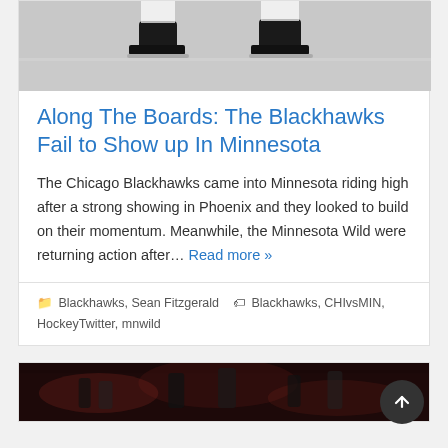[Figure (photo): Cropped photo showing ice hockey skates on ice, black and white tones]
Along The Boards: The Blackhawks Fail to Show up In Minnesota
The Chicago Blackhawks came into Minnesota riding high after a strong showing in Phoenix and they looked to build on their momentum. Meanwhile, the Minnesota Wild were returning action after… Read more »
Blackhawks, Sean Fitzgerald  Blackhawks, CHIvsMIN, HockeyTwitter, mnwild
[Figure (photo): Partial photo at bottom showing hockey players and crowd, dark reddish tones]